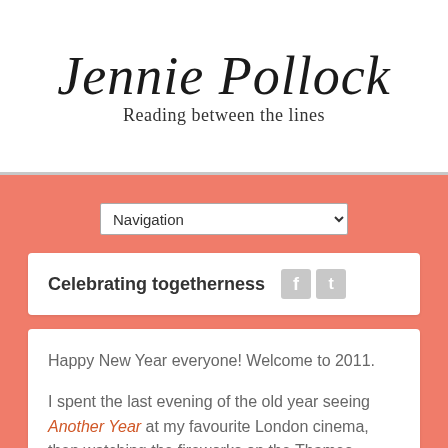Jennie Pollock
Reading between the lines
Celebrating togetherness
Happy New Year everyone!  Welcome to 2011.
I spent the last evening of the old year seeing Another Year at my favourite London cinema, then watching the fireworks on the Thames.
The movie, written and directed by